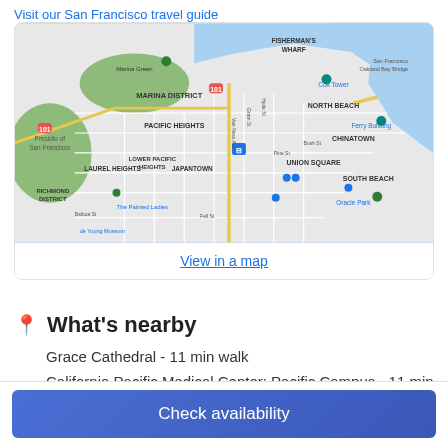Visit our San Francisco travel guide
[Figure (map): Map of San Francisco showing neighborhoods including Marina District, Fisherman's Wharf, North Beach, Chinatown, Pacific Heights, Lower Pacific Heights, Japantown, Laurel Heights, Richmond District, Union Square, South Beach, and other landmarks.]
View in a map
What's nearby
Grace Cathedral - 11 min walk
California Pacific Medical Center: Pacific Campus - 11 min
Check availability